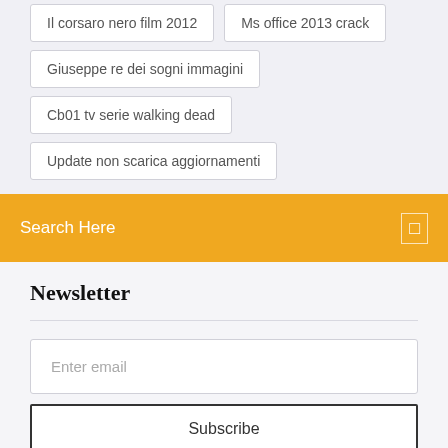Il corsaro nero film 2012
Ms office 2013 crack
Giuseppe re dei sogni immagini
Cb01 tv serie walking dead
Update non scarica aggiornamenti
Search Here
Newsletter
Enter email
Subscribe